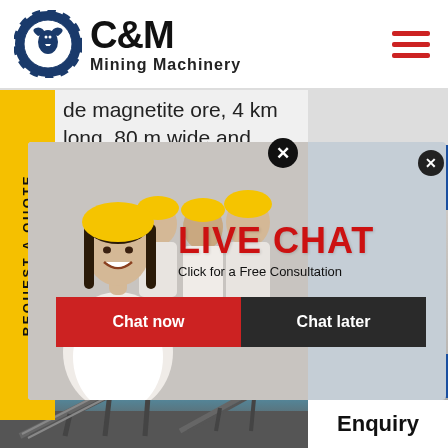[Figure (logo): C&M Mining Machinery logo with eagle in gear circle]
C&M Mining Machinery
de magnetite ore, 4 km long, 80 m wide and ending over a depth of 2 km. Fig. 5 shows the ven exis es, as w erves. Th hat ore ades in Sweden if appropriate e
[Figure (photo): Live chat popup with workers in hard hats and customer service representative]
[Figure (photo): Mining conveyor belt structure against blue sky]
[Figure (photo): Customer service representative with headset on right panel]